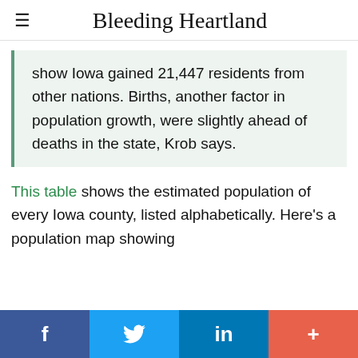Bleeding Heartland
show Iowa gained 21,447 residents from other nations. Births, another factor in population growth, were slightly ahead of deaths in the state, Krob says.
This table shows the estimated population of every Iowa county, listed alphabetically. Here's a population map showing